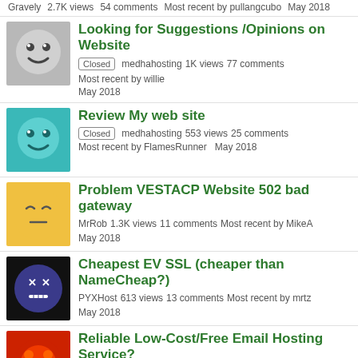Gravely  2.7K views  54 comments  Most recent by pullangcubo  May 2018
Looking for Suggestions /Opinions on Website
[Closed] medhahosting  1K views  77 comments  Most recent by willie  May 2018
Review My web site
[Closed] medhahosting  553 views  25 comments  Most recent by FlamesRunner  May 2018
Problem VESTACP Website 502 bad gateway
MrRob  1.3K views  11 comments  Most recent by MikeA  May 2018
Cheapest EV SSL (cheaper than NameCheap?)
PYXHost  613 views  13 comments  Most recent by mrtz  May 2018
Reliable Low-Cost/Free Email Hosting Service?
consultant  1.4K views  17 comments  Most recent by Sauron  May 2018
VPS for Multiple Wordpress (Static) Websites?
Kytro  778 views  23 comments  Most recent by eva2000  May 2018
selling account with 274.88 usd credit VULTR VPS
metalzoa100  678 views  12 comments  Most recent by deathlife23  May 2018